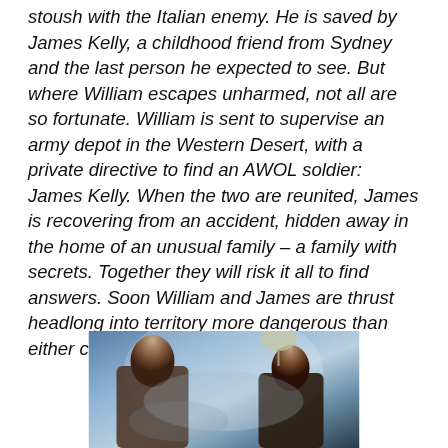stoush with the Italian enemy. He is saved by James Kelly, a childhood friend from Sydney and the last person he expected to see. But where William escapes unharmed, not all are so fortunate. William is sent to supervise an army depot in the Western Desert, with a private directive to find an AWOL soldier: James Kelly. When the two are reunited, James is recovering from an accident, hidden away in the home of an unusual family – a family with secrets. Together they will risk it all to find answers. Soon William and James are thrust headlong into territory more dangerous than either could have imagined.
[Figure (photo): A dark, atmospheric photograph showing two people in a smoky or hazy environment, partially visible from the waist up against a bluish-grey background.]